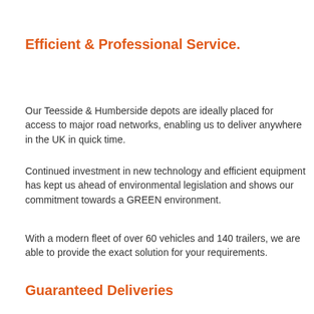Efficient & Professional Service.
Our Teesside & Humberside depots are ideally placed for access to major road networks, enabling us to deliver anywhere in the UK in quick time.
Continued investment in new technology and efficient equipment has kept us ahead of environmental legislation and shows our commitment towards a GREEN environment.
With a modern fleet of over 60 vehicles and 140 trailers, we are able to provide the exact solution for your requirements.
Guaranteed Deliveries